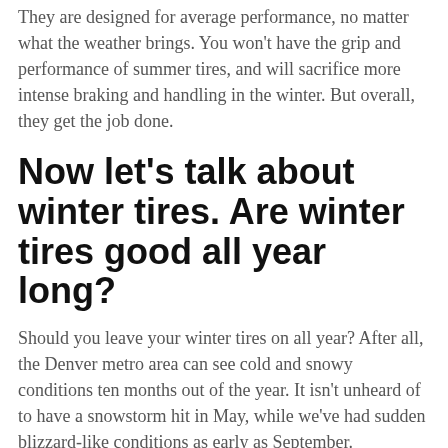They are designed for average performance, no matter what the weather brings. You won't have the grip and performance of summer tires, and will sacrifice more intense braking and handling in the winter. But overall, they get the job done.
Now let's talk about winter tires. Are winter tires good all year long?
Should you leave your winter tires on all year? After all, the Denver metro area can see cold and snowy conditions ten months out of the year. It isn't unheard of to have a snowstorm hit in May, while we've had sudden blizzard-like conditions as early as September.